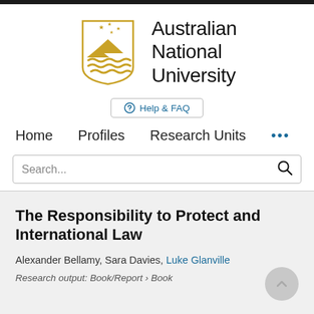[Figure (logo): Australian National University crest/logo with golden shield containing stars, mountain and wave motifs, alongside the text 'Australian National University']
Help & FAQ
Home   Profiles   Research Units   ...
Search...
The Responsibility to Protect and International Law
Alexander Bellamy, Sara Davies, Luke Glanville
Research output: Book/Report › Book